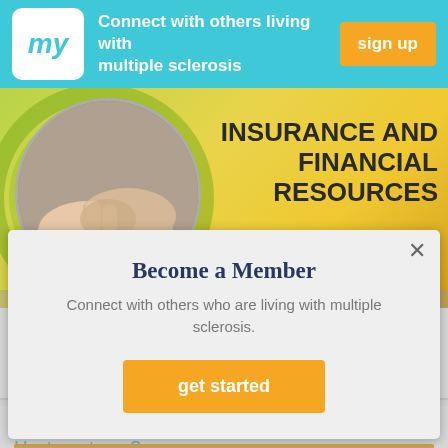Connect with others living with multiple sclerosis | sign up
[Figure (screenshot): Banner image showing two hands clasped together over a yellow-green gradient background with text INSURANCE AND FINANCIAL RESOURCES]
Become a Member
Connect with others who are living with multiple sclerosis.
get started
Does MS Get Better or Worse After Hysterectomy?